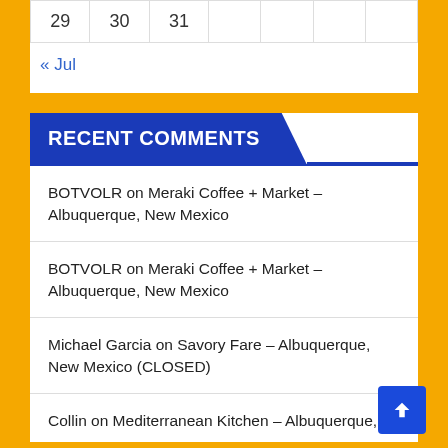| 29 | 30 | 31 |  |
« Jul
RECENT COMMENTS
BOTVOLR on Meraki Coffee + Market – Albuquerque, New Mexico
BOTVOLR on Meraki Coffee + Market – Albuquerque, New Mexico
Michael Garcia on Savory Fare – Albuquerque, New Mexico (CLOSED)
Collin on Mediterranean Kitchen – Albuquerque,